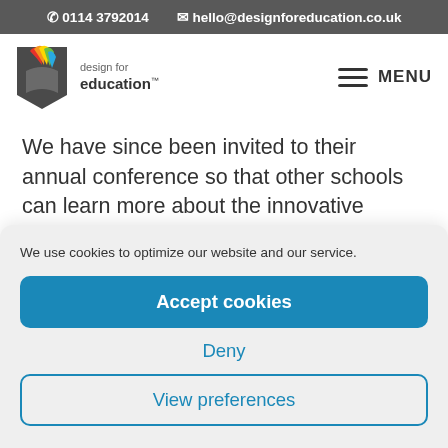0114 3792014   hello@designforeducation.co.uk
[Figure (logo): Design for education logo with colourful book pages graphic and text 'design for education TM']
We have since been invited to their annual conference so that other schools can learn more about the innovative measures that
We use cookies to optimize our website and our service.
Accept cookies
Deny
View preferences